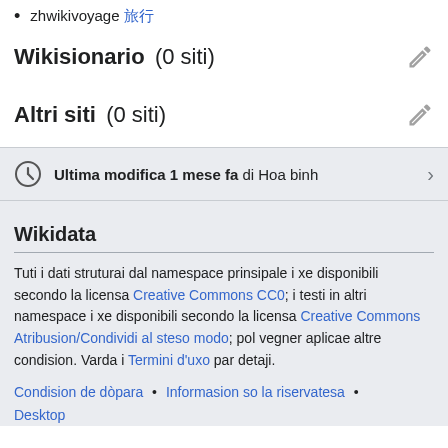zhwikivoyage 旅行
Wikisionario (0 siti)
Altri siti (0 siti)
Ultima modifica 1 mese fa di Hoa binh
Wikidata
Tuti i dati struturai dal namespace prinsipale i xe disponibili secondo la licensa Creative Commons CC0; i testi in altri namespace i xe disponibili secondo la licensa Creative Commons Atribusion/Condividi al steso modo; pol vegner aplicae altre condision. Varda i Termini d'uxo par detaji.
Condision de dòpara • Informasion so la riservatesa • Desktop